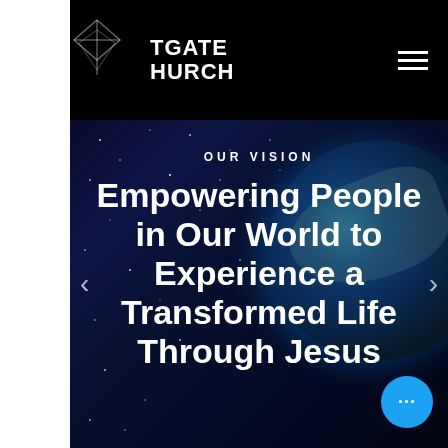[Figure (logo): Westgate Church logo - geometric diamond/arrow shape icon with text 'WESTGATE CHURCH' in white on black background]
[Figure (screenshot): Church website screenshot showing navigation bar with Westgate Church logo and hamburger menu icon on black background, with hero section below showing space/earth image with text 'OUR VISION' and 'Empowering People in Our World to Experience a Transformed Life Through Jesus' overlaid, with left/right carousel arrows and blue chat bubble with ellipsis]
OUR VISION
Empowering People in Our World to Experience a Transformed Life Through Jesus